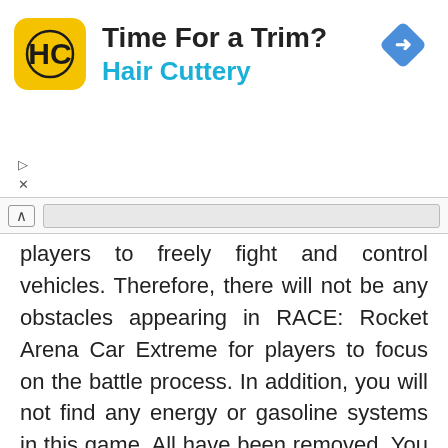[Figure (other): Hair Cuttery advertisement banner with yellow HC logo, title 'Time For a Trim?', subtitle 'Hair Cuttery', and a blue navigation diamond icon on the right.]
players to freely fight and control vehicles. Therefore, there will not be any obstacles appearing in RACE: Rocket Arena Car Extreme for players to focus on the battle process. In addition, you will not find any energy or gasoline systems in this game. All have been removed. You simply participate in the game, control your car to shoot down all opponents to win.
Four different racing modes
There are different racing modes in RACE: Rocket Arena Car Extreme allowing players to